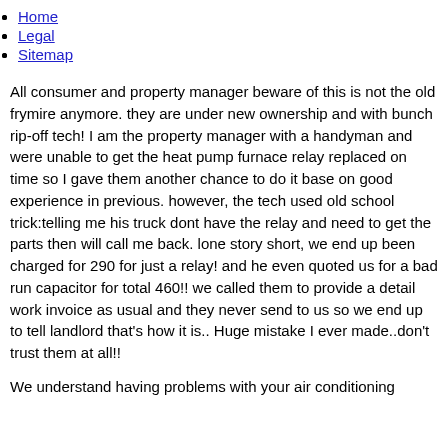Home
Legal
Sitemap
All consumer and property manager beware of this is not the old frymire anymore. they are under new ownership and with bunch rip-off tech! I am the property manager with a handyman and were unable to get the heat pump furnace relay replaced on time so I gave them another chance to do it base on good experience in previous. however, the tech used old school trick:telling me his truck dont have the relay and need to get the parts then will call me back. lone story short, we end up been charged for 290 for just a relay! and he even quoted us for a bad run capacitor for total 460!! we called them to provide a detail work invoice as usual and they never send to us so we end up to tell landlord that's how it is.. Huge mistake I ever made..don't trust them at all!!
We understand having problems with your air conditioning